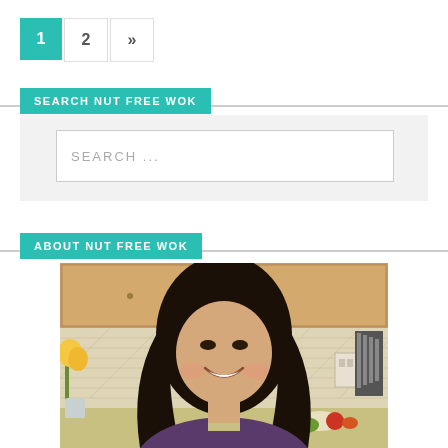1  2  »
SEARCH NUT FREE WOK
SEARCH ...
ABOUT NUT FREE WOK
[Figure (photo): Woman with long black hair smiling in a kitchen with cabinets, yellow flowers, and vegetables on the counter]